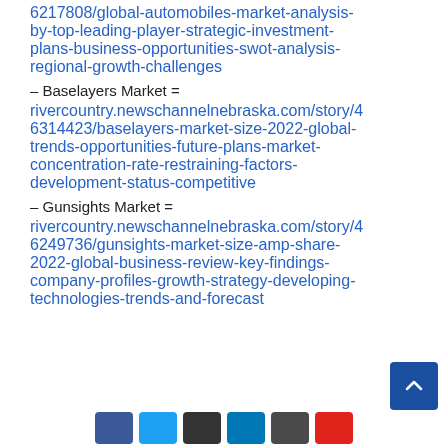6217808/global-automobiles-market-analysis-by-top-leading-player-strategic-investment-plans-business-opportunities-swot-analysis-regional-growth-challenges
– Baselayers Market = rivercountry.newschannelnebraska.com/story/46314423/baselayers-market-size-2022-global-trends-opportunities-future-plans-market-concentration-rate-restraining-factors-development-status-competitive
– Gunsights Market = rivercountry.newschannelnebraska.com/story/46249736/gunsights-market-size-amp-share-2022-global-business-review-key-findings-company-profiles-growth-strategy-developing-technologies-trends-and-forecast